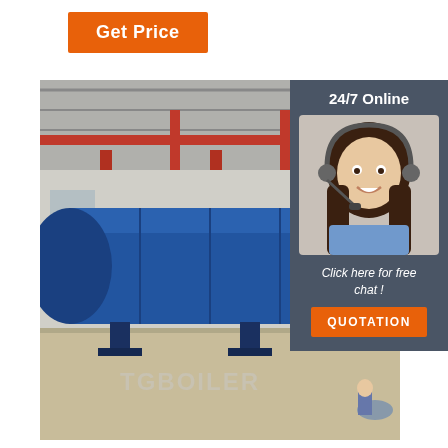Get Price
[Figure (photo): Large blue horizontal industrial autoclave/pressure vessel on a factory floor, with yellow end cap door mechanism. Industrial crane visible overhead in the warehouse background. TGBoiler watermark on the image. A person crouching near the yellow end is partially visible.]
24/7 Online
[Figure (photo): Customer service agent: a smiling woman with dark hair wearing a headset microphone, dressed in a blue shirt, shown from the shoulders up against a light background.]
Click here for free chat !
QUOTATION